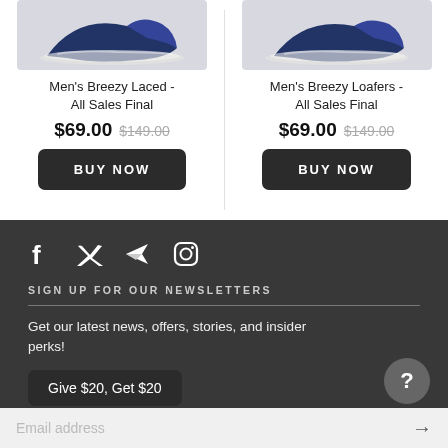[Figure (photo): Men's Breezy Laced navy sneaker shoe product image]
Men's Breezy Laced - All Sales Final
$69.00 $149.00
[Figure (photo): Men's Breezy Loafers navy shoe product image]
Men's Breezy Loafers - All Sales Final
$69.00 $149.00
[Figure (other): Social media icons: Facebook, Twitter, Telegram, Instagram]
SIGN UP FOR OUR NEWSLETTERS
Get our latest news, offers, stories, and insider perks!
Give $20, Get $20
Email address